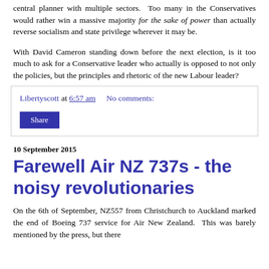central planner with multiple sectors. Too many in the Conservatives would rather win a massive majority for the sake of power than actually reverse socialism and state privilege wherever it may be.
With David Cameron standing down before the next election, is it too much to ask for a Conservative leader who actually is opposed to not only the policies, but the principles and rhetoric of the new Labour leader?
Libertyscott at 6:57 am   No comments:
Share
10 September 2015
Farewell Air NZ 737s - the noisy revolutionaries
On the 6th of September, NZ557 from Christchurch to Auckland marked the end of Boeing 737 service for Air New Zealand. This was barely mentioned by the press, but there